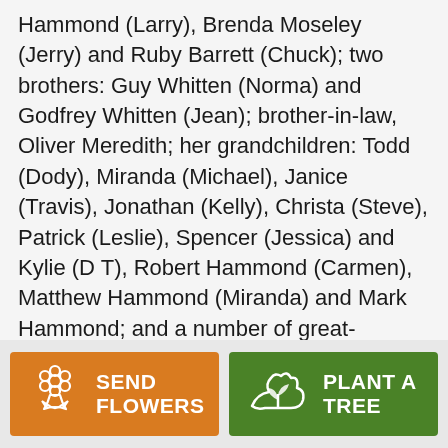Hammond (Larry), Brenda Moseley (Jerry) and Ruby Barrett (Chuck); two brothers: Guy Whitten (Norma) and Godfrey Whitten (Jean); brother-in-law, Oliver Meredith; her grandchildren: Todd (Dody), Miranda (Michael), Janice (Travis), Jonathan (Kelly), Christa (Steve), Patrick (Leslie), Spencer (Jessica) and Kylie (D T), Robert Hammond (Carmen), Matthew Hammond (Miranda) and Mark Hammond; and a number of great-grandchildren, nieces, nephews and other family members. Serving as pallbearers will be Steve Womeldurf, Jonathan Moseley, Patrick Barrett,
[Figure (other): Two call-to-action buttons at the bottom: 'SEND FLOWERS' (orange, with flower bouquet icon) and 'PLANT A TREE' (green, with seedling/hand icon)]